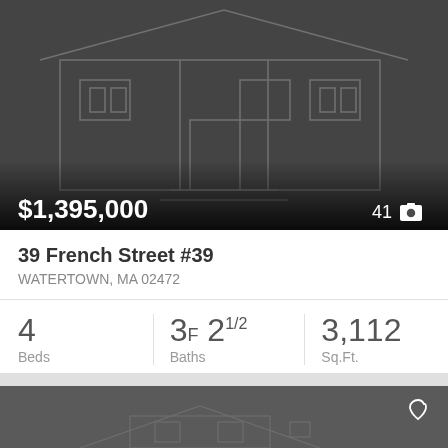[Figure (photo): Dark background photo of a house with outline/sketch style rendering of a large building facade]
$1,395,000
41 [camera icon]
39 French Street #39
WATERTOWN, MA 02472
4 Beds
3F 21/2 Baths
3,112 Sq.Ft.
MLS #: 73018770
[Figure (photo): Dark gray background with sketch/outline illustration of a house; bottom card partially visible]